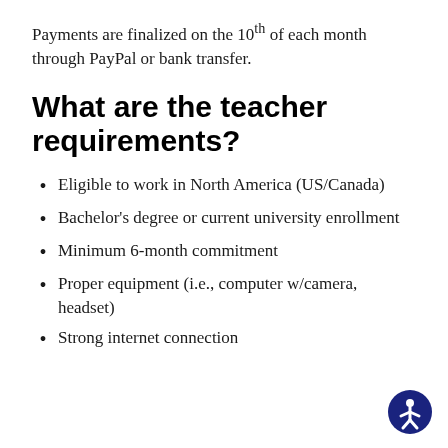Payments are finalized on the 10th of each month through PayPal or bank transfer.
What are the teacher requirements?
Eligible to work in North America (US/Canada)
Bachelor's degree or current university enrollment
Minimum 6-month commitment
Proper equipment (i.e., computer w/camera, headset)
Strong internet connection